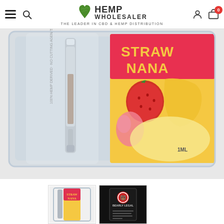Hemp Wholesaler - The Leader in CBD & Hemp Distribution
[Figure (photo): Close-up product shot of a Straw Nana flavored CBD vape cartridge in blister packaging. The packaging features a yellow background with strawberry and banana graphics, text reading STRAW NANA, and a vape cartridge visible. Label reads: 100% Hemp Derived, No Cutting Agents, 1ML.]
[Figure (photo): Small thumbnail image of Straw Nana vape cartridge product in packaging - front view.]
[Figure (photo): Small thumbnail image of a dark packaged product labeled Bearly Legal.]